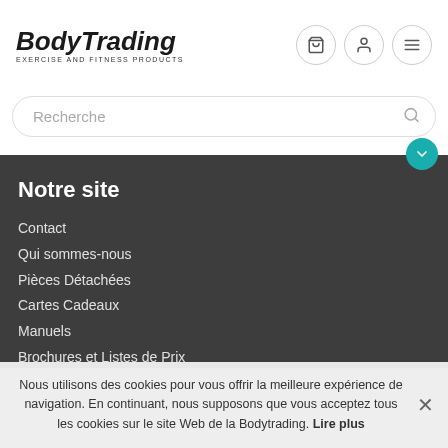BodyTrading EXERCISE AND FITNESS PRODUCTS
Recherche
Notre site
Contact
Qui sommes-nous
Pièces Détachées
Cartes Cadeaux
Manuels
Brochures et Listes de Prix
Nous utilisons des cookies pour vous offrir la meilleure expérience de navigation. En continuant, nous supposons que vous acceptez tous les cookies sur le site Web de la Bodytrading. Lire plus